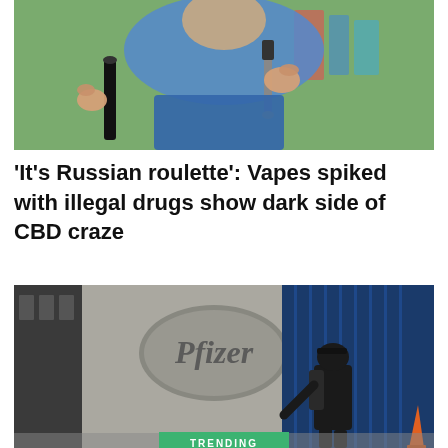[Figure (photo): A person in a blue shirt holding two vape/e-cigarette devices, with a playground visible in the background.]
'It's Russian roulette': Vapes spiked with illegal drugs show dark side of CBD craze
[Figure (photo): A person wearing a mask and dark clothing walking past the Pfizer logo on a building exterior. A 'TRENDING' label is at the bottom.]